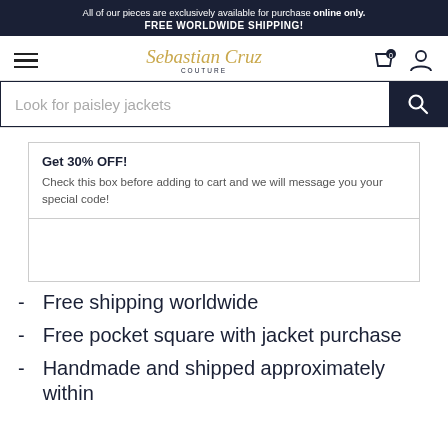All of our pieces are exclusively available for purchase online only. FREE WORLDWIDE SHIPPING!
[Figure (logo): Sebastian Cruz Couture logo with hamburger menu and navigation icons]
[Figure (screenshot): Search bar with placeholder text 'Look for paisley jackets' and dark search button]
Get 30% OFF! Check this box before adding to cart and we will message you your special code!
Free shipping worldwide
Free pocket square with jacket purchase
Handmade and shipped approximately within